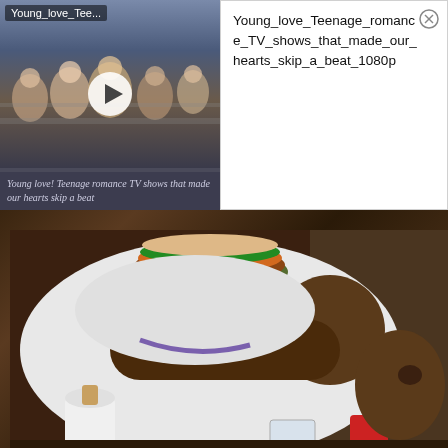[Figure (screenshot): Video thumbnail showing teenagers/young people in bleachers with a play button overlay and label 'Young_love_Tee...' at top left. Bottom of thumbnail has a semi-transparent caption bar reading 'Young love! Teenage romance TV shows that made our hearts skip a beat']
Young_love_Teenage_romance_TV_shows_that_made_our_hearts_skip_a_beat_1080p
[Figure (photo): A large man in a white t-shirt leaning forward with a large hamburger/burger resting on the back of his head/neck, at a table with paper towels, a red can, and other items. Indoor setting with wooden wall.]